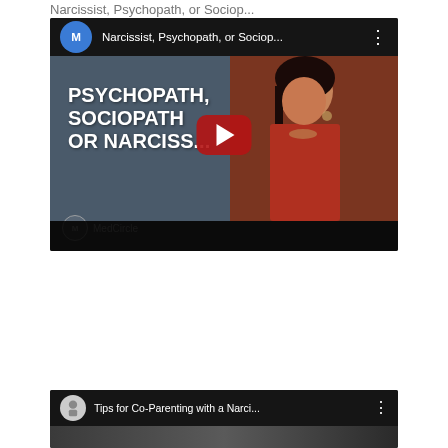Narcissist, Psychopath, or Sociop...
[Figure (screenshot): YouTube video thumbnail for MedCircle: 'Narcissist, Psychopath, or Sociop...' showing a woman in red with overlaid text reading PSYCHOPATH, SOCIOPATH, OR NARCISS... with a YouTube play button in the center and MedCircle branding at bottom left]
[Figure (screenshot): YouTube video thumbnail for 'Tips for Co-Parenting with a Narci...' showing a partial view of a woman, partially cut off at the bottom of the page]